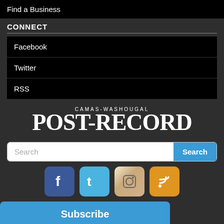Find a Business
CONNECT
Facebook
Twitter
RSS
[Figure (logo): Camas-Washougal Post-Record newspaper logo in white serif font on dark background]
Search
[Figure (infographic): Row of four social media icons: Facebook (blue), Twitter (teal), Instagram (retro camera), RSS (orange)]
Subscribe